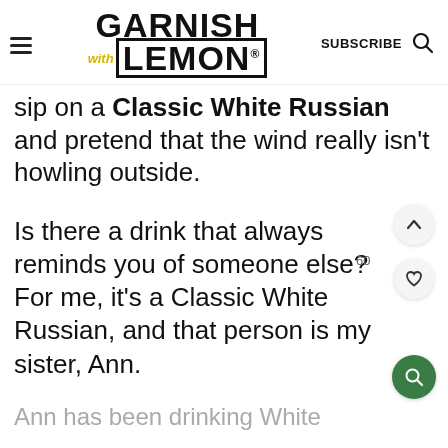GARNISH with LEMON® SUBSCRIBE
sip on a Classic White Russian and pretend that the wind really isn't howling outside.
Is there a drink that always reminds you of someone else? For me, it's a Classic White Russian, and that person is my sister, Ann.
Ann has been drinking White